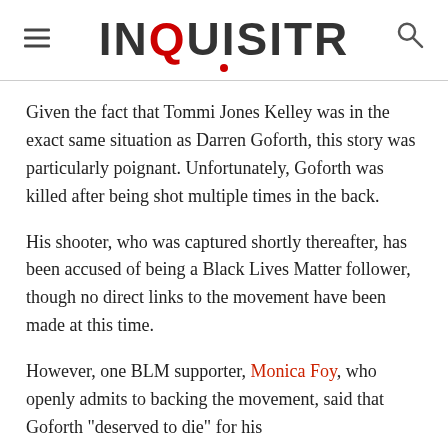INQUISITR
Given the fact that Tommi Jones Kelley was in the exact same situation as Darren Goforth, this story was particularly poignant. Unfortunately, Goforth was killed after being shot multiple times in the back.
His shooter, who was captured shortly thereafter, has been accused of being a Black Lives Matter follower, though no direct links to the movement have been made at this time.
However, one BLM supporter, Monica Foy, who openly admits to backing the movement, said that Goforth "deserved to die" for his